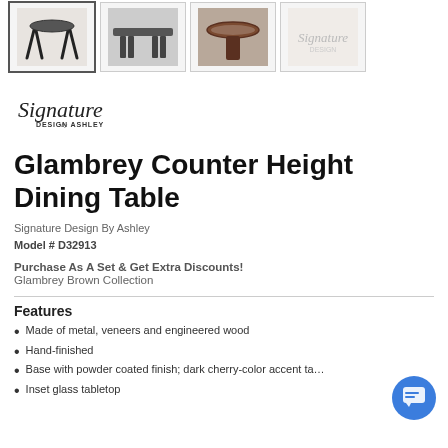[Figure (photo): Row of four product thumbnail images of the Glambrey Counter Height Dining Table from different angles. First thumbnail is selected/highlighted.]
[Figure (logo): Signature Design by Ashley logo in script and print typography]
Glambrey Counter Height Dining Table
Signature Design By Ashley
Model # D32913
Purchase As A Set & Get Extra Discounts!
Glambrey Brown Collection
Features
Made of metal, veneers and engineered wood
Hand-finished
Base with powder coated finish; dark cherry-color accent ta…
Inset glass tabletop